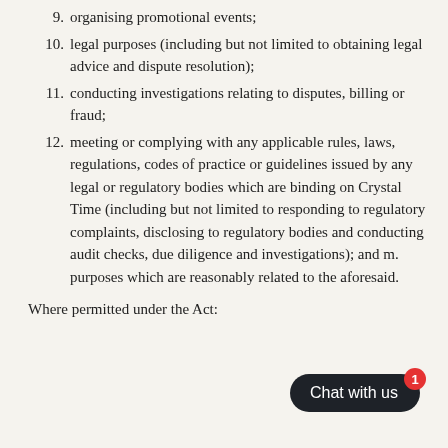9. organising promotional events;
10. legal purposes (including but not limited to obtaining legal advice and dispute resolution);
11. conducting investigations relating to disputes, billing or fraud;
12. meeting or complying with any applicable rules, laws, regulations, codes of practice or guidelines issued by any legal or regulatory bodies which are binding on Crystal Time (including but not limited to responding to regulatory complaints, disclosing to regulatory bodies and conducting audit checks, due diligence and investigations); and m. purposes which are reasonably related to the aforesaid.
Where permitted under the Act: